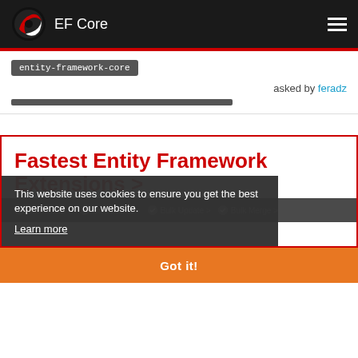EF Core
entity-framework-core
asked by feradz
[Figure (screenshot): Ad banner for Fastest Entity Framework Extensions with red border and dark cookie consent overlay]
Fastest Entity Framework Extensions >
This website uses cookies to ensure you get the best experience on our website. Learn more
Got it!